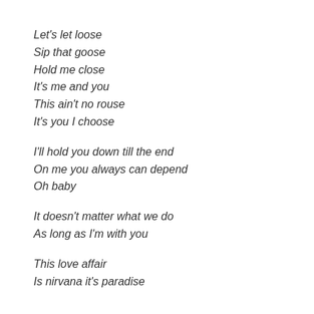Let's let loose
Sip that goose
Hold me close
It's me and you
This ain't no rouse
It's you I choose
I'll hold you down till the end
On me you always can depend
Oh baby
It doesn't matter what we do
As long as I'm with you
This love affair
Is nirvana it's paradise